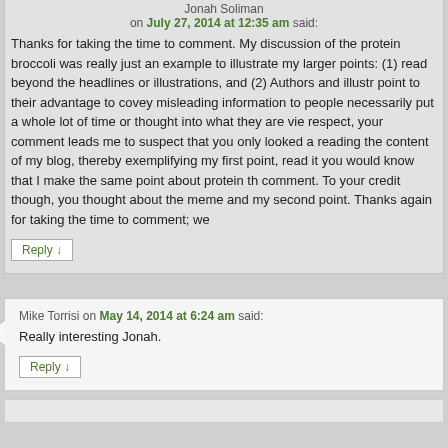Jonah Soliman on July 27, 2014 at 12:35 am said:
Thanks for taking the time to comment. My discussion of the protein broccoli was really just an example to illustrate my larger points: (1) read beyond the headlines or illustrations, and (2) Authors and illustr point to their advantage to covey misleading information to people necessarily put a whole lot of time or thought into what they are vie respect, your comment leads me to suspect that you only looked a reading the content of my blog, thereby exemplifying my first point, read it you would know that I make the same point about protein th comment. To your credit though, you thought about the meme and my second point. Thanks again for taking the time to comment; we
Reply ↓
Mike Torrisi on May 14, 2014 at 6:24 am said:
Really interesting Jonah.
Reply ↓